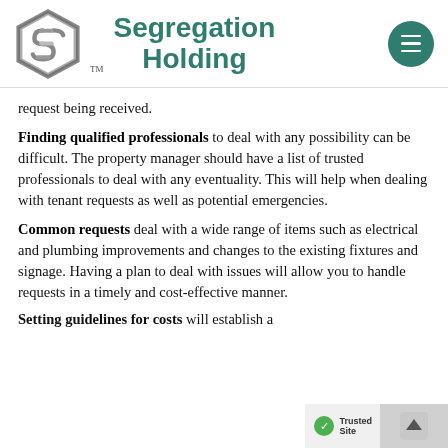Segregation Holding
request being received.
Finding qualified professionals to deal with any possibility can be difficult. The property manager should have a list of trusted professionals to deal with any eventuality. This will help when dealing with tenant requests as well as potential emergencies.
Common requests deal with a wide range of items such as electrical and plumbing improvements and changes to the existing fixtures and signage. Having a plan to deal with issues will allow you to handle requests in a timely and cost-effective manner.
Setting guidelines for costs will establish a